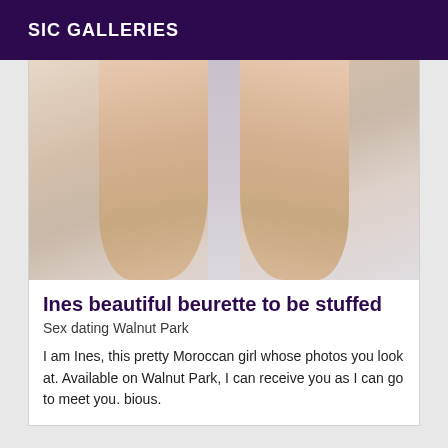SIC GALLERIES
[Figure (photo): Close-up photo of two legs against a light gray/white background]
Ines beautiful beurette to be stuffed
Sex dating Walnut Park
I am Ines, this pretty Moroccan girl whose photos you look at. Available on Walnut Park, I can receive you as I can go to meet you. bious.